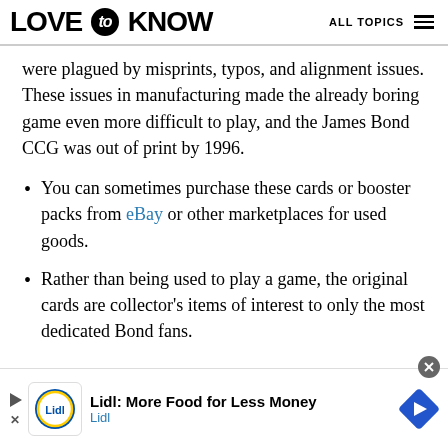LOVE to KNOW   ALL TOPICS
were plagued by misprints, typos, and alignment issues. These issues in manufacturing made the already boring game even more difficult to play, and the James Bond CCG was out of print by 1996.
You can sometimes purchase these cards or booster packs from eBay or other marketplaces for used goods.
Rather than being used to play a game, the original cards are collector's items of interest to only the most dedicated Bond fans.
Lidl: More Food for Less Money
Lidl